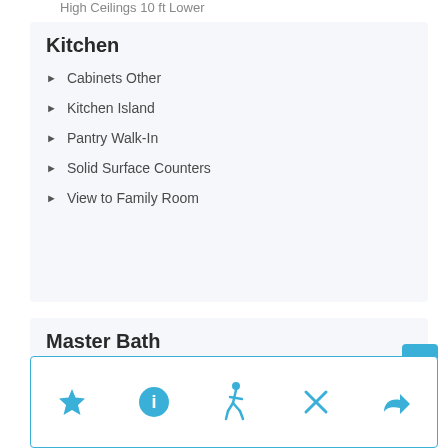High Ceilings 10 ft Lower
Kitchen
Cabinets Other
Kitchen Island
Pantry Walk-In
Solid Surface Counters
View to Family Room
Master Bath
Double Vanity
Separate Tub/Shower
Shower Only
Whirlpool Tub
[Figure (screenshot): Bottom navigation bar with star, info, walk, close, and share icons in blue, plus a scroll-to-top button]